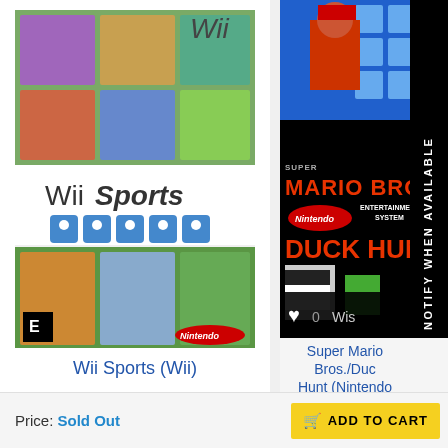[Figure (photo): Wii Sports game box cover for Nintendo Wii]
Wii Sports (Wii)
$ 24.99
[Figure (photo): Super Mario Bros./Duck Hunt Nintendo NES game box cover with NOTIFY WHEN AVAILABLE banner]
Super Mario Bros./Duck Hunt (Nintendo NES)
1 review
$ 7.99
Price: Sold Out
ADD TO CART